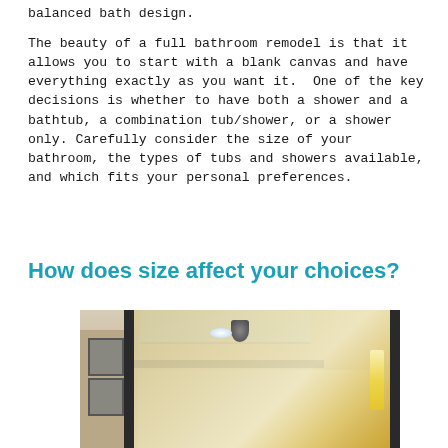balanced bath design.
The beauty of a full bathroom remodel is that it allows you to start with a blank canvas and have everything exactly as you want it.  One of the key decisions is whether to have both a shower and a bathtub, a combination tub/shower, or a shower only. Carefully consider the size of your bathroom, the types of tubs and showers available, and which fits your personal preferences.
How does size affect your choices?
[Figure (photo): Interior photo of a bathroom shower area featuring glass shower enclosure with dark metal frame, skylight above, recessed ceiling lights, framed artwork on left wall, and pendant/vertical lights on the right side.]